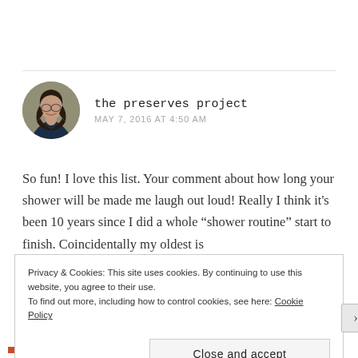[Figure (photo): Circular avatar photo of a woman with curly dark hair, smiling, wearing a dark jacket]
the preserves project
MAY 7, 2016 AT 4:50 AM
So fun! I love this list. Your comment about how long your shower will be made me laugh out loud! Really I think it's been 10 years since I did a whole “shower routine” start to finish. Coincidentally my oldest is
Privacy & Cookies: This site uses cookies. By continuing to use this website, you agree to their use.
To find out more, including how to control cookies, see here: Cookie Policy
Close and accept